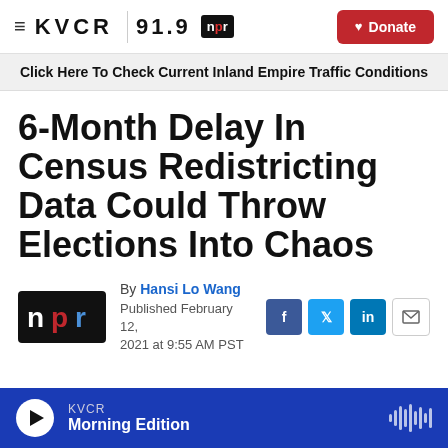KVCR 91.9 | npr | Donate
Click Here To Check Current Inland Empire Traffic Conditions
6-Month Delay In Census Redistricting Data Could Throw Elections Into Chaos
By Hansi Lo Wang
Published February 12, 2021 at 9:55 AM PST
[Figure (logo): NPR logo (n in white, p in red, r in blue on black background)]
KVCR Morning Edition (player bar at bottom)